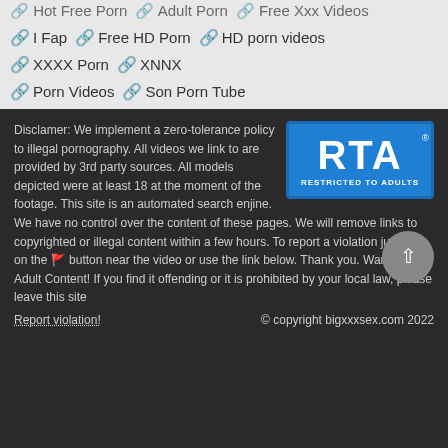🔗 Hot Free Porn  🔗 Adult Porn  🔗 Free Xxx Videos
🔗 I Fap  🔗 Free HD Porn  🔗 HD porn videos
🔗 XXXX Porn  🔗 XNNX
🔗 Porn Videos  🔗 Son Porn Tube
Disclamer: We implement a zero-tolerance policy to illegal pornography. All videos we link to are provided by 3rd party sources. All models depicted were at least 18 at the moment of the footage. This site is an automated search enjine. We have no control over the content of these pages. We will remove links to copyrighted or illegal content within a few hours. To report a violation just click on the 🚩 button near the video or use the link below. Thank you. Warning: Adult Content! If you find it offending or it is prohibited by your local law, please leave this site
[Figure (logo): RTA Restricted to Adults badge - blue logo]
Report violation!   © copyright bigxxxsex.com 2022